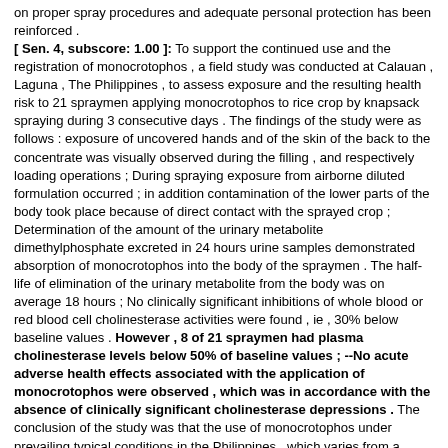on proper spray procedures and adequate personal protection has been reinforced . [ Sen. 4, subscore: 1.00 ]: To support the continued use and the registration of monocrotophos , a field study was conducted at Calauan , Laguna , The Philippines , to assess exposure and the resulting health risk to 21 spraymen applying monocrotophos to rice crop by knapsack spraying during 3 consecutive days . The findings of the study were as follows : exposure of uncovered hands and of the skin of the back to the concentrate was visually observed during the filling , and respectively loading operations ; During spraying exposure from airborne diluted formulation occurred ; in addition contamination of the lower parts of the body took place because of direct contact with the sprayed crop ; Determination of the amount of the urinary metabolite dimethylphosphate excreted in 24 hours urine samples demonstrated absorption of monocrotophos into the body of the spraymen . The half-life of elimination of the urinary metabolite from the body was on average 18 hours ; No clinically significant inhibitions of whole blood or red blood cell cholinesterase activities were found , ie , 30% below baseline values . However , 8 of 21 spraymen had plasma cholinesterase levels below 50% of baseline values ; --No acute adverse health effects associated with the application of monocrotophos were observed , which was in accordance with the absence of clinically significant cholinesterase depressions . The conclusion of the study was that the use of monocrotophos under prevailing typical conditions in the Philippines , which varies from a frequency of one application per season to a maximum of 3 applications each on 3 consecutive days per week , and where label safety instructions are not necessarily observed , is not expected to pose an acute health risk under the prevailing conditions and practices , which includes filling , spraying and cleaning activities . From the experience in this study it is clear that proper spraying